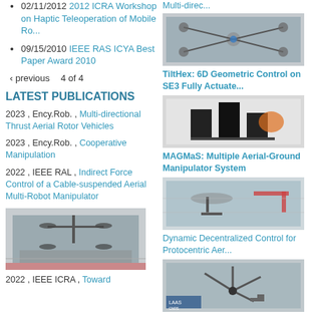02/11/2012 2012 ICRA Workshop on Haptic Teleoperation of Mobile Ro...
09/15/2010 IEEE RAS ICYA Best Paper Award 2010
‹ previous   4 of 4
LATEST PUBLICATIONS
2023 , Ency.Rob. , Multi-directional Thrust Aerial Rotor Vehicles
2023 , Ency.Rob. , Cooperative Manipulation
2022 , IEEE RAL , Indirect Force Control of a Cable-suspended Aerial Multi-Robot Manipulator
[Figure (photo): Photo of cable-suspended aerial multi-robot manipulator experiment with drones]
2022 , IEEE ICRA , Toward
Multi-direc...
[Figure (photo): Photo of multi-directional thrust aerial rotor vehicle]
TiltHex: 6D Geometric Control on SE3 Fully Actuate...
[Figure (photo): Photo related to TiltHex 6D geometric control]
MAGMaS: Multiple Aerial-Ground Manipulator System
[Figure (photo): Photo of MAGMaS multiple aerial-ground manipulator system]
Dynamic Decentralized Control for Protocentric Aer...
[Figure (photo): Photo of dynamic decentralized control aerial robot]
Static Hovering Analysis and Control and Applicati...
[Figure (photo): Photo collage of static hovering analysis robots]
6D Physical Interaction with a Fully Actuated Aeri...